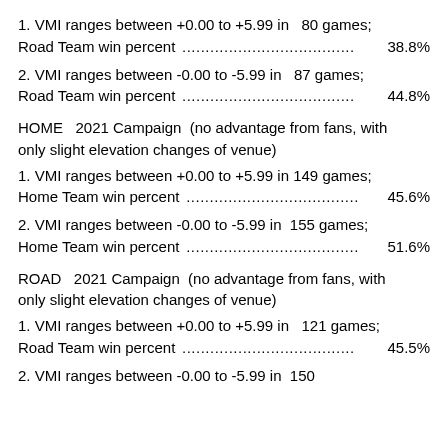1. VMI ranges between +0.00 to +5.99 in   80 games; Road Team win percent ..................................... 38.8%
2. VMI ranges between -0.00 to -5.99 in   87 games; Road Team win percent ..................................... 44.8%
HOME  2021 Campaign  (no advantage from fans, with only slight elevation changes of venue)
1. VMI ranges between +0.00 to +5.99 in 149 games; Home Team win percent ..................................... 45.6%
2. VMI ranges between -0.00 to -5.99 in  155 games; Home Team win percent ..................................... 51.6%
ROAD  2021 Campaign  (no advantage from fans, with only slight elevation changes of venue)
1. VMI ranges between +0.00 to +5.99 in   121 games; Road Team win percent ..................................... 45.5%
2. VMI ranges between -0.00 to -5.99 in  150 games; Road Team win percent ...